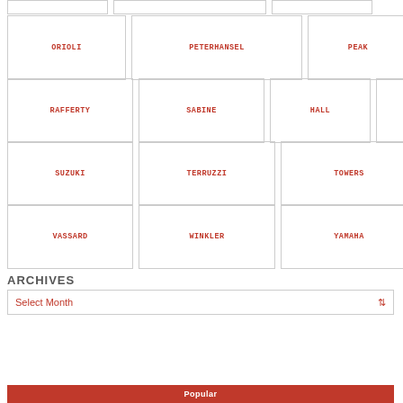ORIOLI
PETERHANSEL
PEAK
RAHIER
RAFFERTY
SABINE
HALL
SONAUTO
SUZUKI
TERRUZZI
TOWERS
VASSARD
WINKLER
YAMAHA
ARCHIVES
Select Month